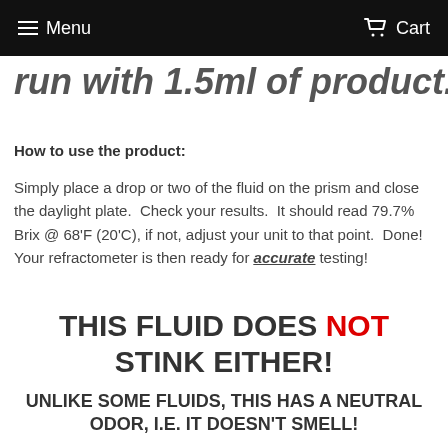Menu   Cart
run with 1.5ml of product.
How to use the product:
Simply place a drop or two of the fluid on the prism and close the daylight plate.  Check your results.  It should read 79.7% Brix @ 68'F (20'C), if not, adjust your unit to that point.  Done!  Your refractometer is then ready for accurate testing!
THIS FLUID DOES NOT STINK EITHER!
UNLIKE SOME FLUIDS, THIS HAS A NEUTRAL ODOR, I.E. IT DOESN'T SMELL!